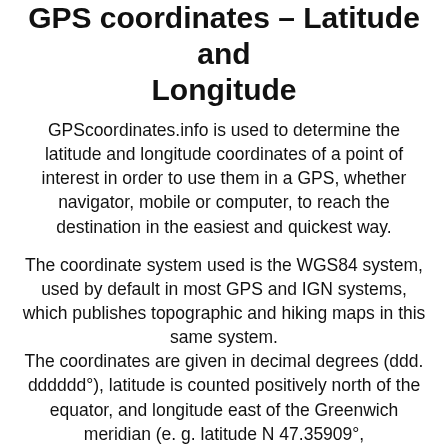GPS coordinates – Latitude and Longitude
GPScoordinates.info is used to determine the latitude and longitude coordinates of a point of interest in order to use them in a GPS, whether navigator, mobile or computer, to reach the destination in the easiest and quickest way.
The coordinate system used is the WGS84 system, used by default in most GPS and IGN systems, which publishes topographic and hiking maps in this same system. The coordinates are given in decimal degrees (ddd. dddddd°), latitude is counted positively north of the equator, and longitude east of the Greenwich meridian (e. g. latitude N 47.35909°, longitude E. 122.14100°).